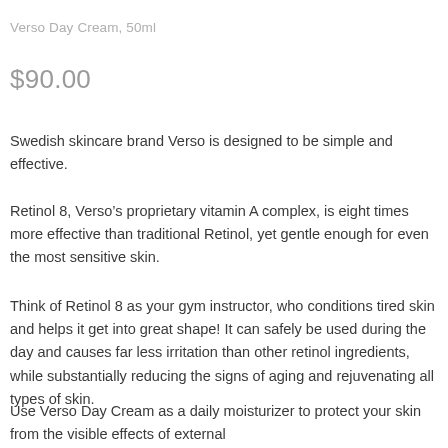Verso Day Cream, 50ml
$90.00
Swedish skincare brand Verso is designed to be simple and effective.
Retinol 8, Verso’s proprietary vitamin A complex, is eight times more effective than traditional Retinol, yet gentle enough for even the most sensitive skin.
Think of Retinol 8 as your gym instructor, who conditions tired skin and helps it get into great shape! It can safely be used during the day and causes far less irritation than other retinol ingredients, while substantially reducing the signs of aging and rejuvenating all types of skin.
Use Verso Day Cream as a daily moisturizer to protect your skin from the visible effects of external